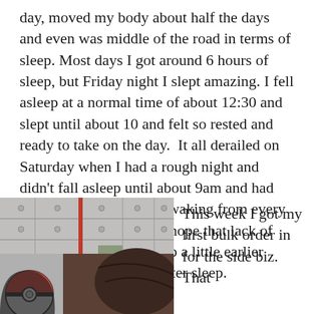day, moved my body about half the days and even was middle of the road in terms of sleep. Most days I got around 6 hours of sleep, but Friday night I slept amazing. I fell asleep at a normal time of about 12:30 and slept until about 10 and felt so rested and ready to take on the day.  It all derailed on Saturday when I had a rough night and didn't fall asleep until about 9am and had broken sleep that I kept waking from every hour until about noon. I hope that lack of sleep helps me fall asleep a little earlier tonight and get some better sleep.
[Figure (photo): A photo showing what appears to be the top of a person's head with dark hair, and a Pokémon ball plush/toy visible in the lower left corner. The background shows metal lockers or a locker-style wall.]
This week I got my first bulk order in for the side biz. That